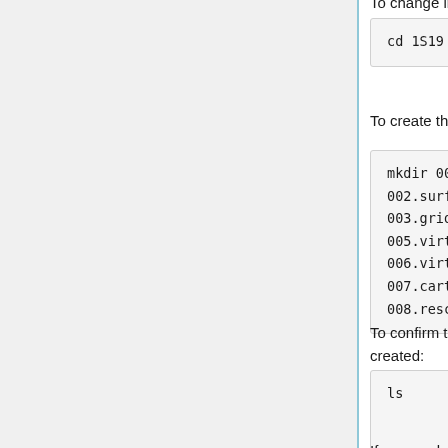To change into that directory type:
cd 1S19
To create the directories for each step:
mkdir 001.structure 002.surface_spheres 003.gridbox 004.dock 005.virtual_screen 006.virtual_screen_mpi 007.cartesianmin 008.rescore
To confirm that the directories have been created:
ls
If you made a mistake and need to delete a directory: